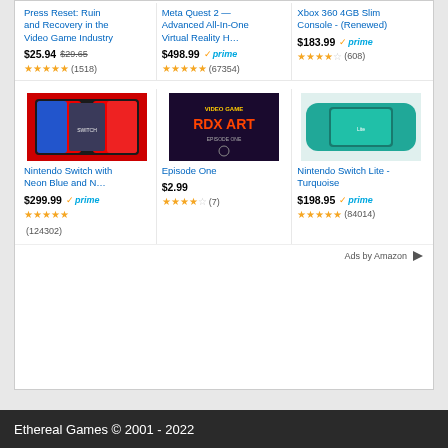[Figure (screenshot): Amazon ads widget showing 6 products in a 3x2 grid: Press Reset book, Meta Quest 2, Xbox 360 4GB Slim Console, Nintendo Switch, Episode One game, Nintendo Switch Lite Turquoise]
Press Reset: Ruin and Recovery in the Video Game Industry — $25.94 (orig $29.65) — 4.5 stars (1518)
Meta Quest 2 — Advanced All-In-One Virtual Reality H… — $498.99 prime — 4.5 stars (67354)
Xbox 360 4GB Slim Console - (Renewed) — $183.99 prime — 4 stars (608)
Nintendo Switch with Neon Blue and N… — $299.99 prime — 5 stars (124302)
Episode One — $2.99 — 4 stars (7)
Nintendo Switch Lite - Turquoise — $198.95 prime — 5 stars (84014)
Ads by Amazon
Ethereal Games © 2001 - 2022